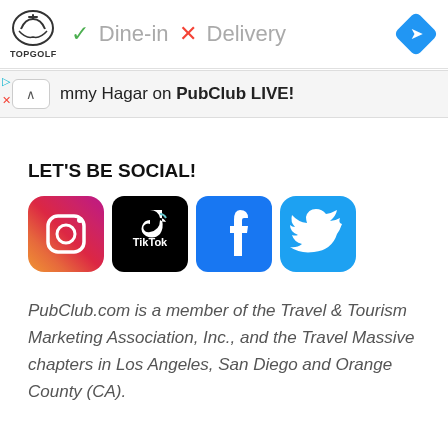[Figure (screenshot): Top ad bar with Topgolf logo, Dine-in checkmark and Delivery X icons, and blue navigation diamond]
[Figure (screenshot): Search/navigation bar with caret button and text 'mmy Hagar on PubClub LIVE!']
LET'S BE SOCIAL!
[Figure (infographic): Social media icons: Instagram, TikTok, Facebook, Twitter]
PubClub.com is a member of the Travel & Tourism Marketing Association, Inc., and the Travel Massive chapters in Los Angeles, San Diego and Orange County (CA).